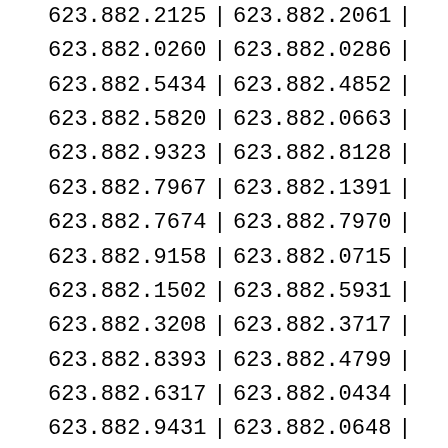| Col1 | Col2 |
| --- | --- |
| 623.882.2125 | 623.882.2061 |
| 623.882.0260 | 623.882.0286 |
| 623.882.5434 | 623.882.4852 |
| 623.882.5820 | 623.882.0663 |
| 623.882.9323 | 623.882.8128 |
| 623.882.7967 | 623.882.1391 |
| 623.882.7674 | 623.882.7970 |
| 623.882.9158 | 623.882.0715 |
| 623.882.1502 | 623.882.5931 |
| 623.882.3208 | 623.882.3717 |
| 623.882.8393 | 623.882.4799 |
| 623.882.6317 | 623.882.0434 |
| 623.882.9431 | 623.882.0648 |
| 623.882.9183 | 623.882.1607 |
| 623.882.0086 | 623.882.3173 |
| 623.882.6085 | 623.882.2726 |
| 623.882.2925 | 623.882.9198 |
| 623.882.7999 | 623.882.3425 |
| 623.882.7380 | 623.882.4007 |